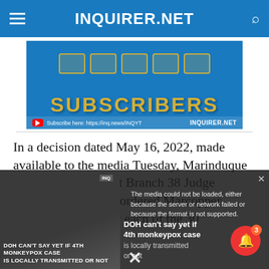INQUIRER.NET
[Figure (screenshot): INQUIRER.NET YouTube subscribers banner with gold text 'SUBSCRIBERS' and YouTube subscribe link at bottom]
In a decision dated May 16, 2022, made available to the media Tuesday, Marinduque Regional Trial Court Branch 38 Judge Emmanuel Recalde ordered Marcopper Mining Corp. to pay each of the 30
[Figure (screenshot): Video player overlay showing error message: 'The media could not be loaded, either because the server or network failed or because the format is not supported.' with thumbnail of DOH monkeypox news video on left and related article title on right: 'DOH can't say yet if 4th monkeypox case is locally transmitted or not']